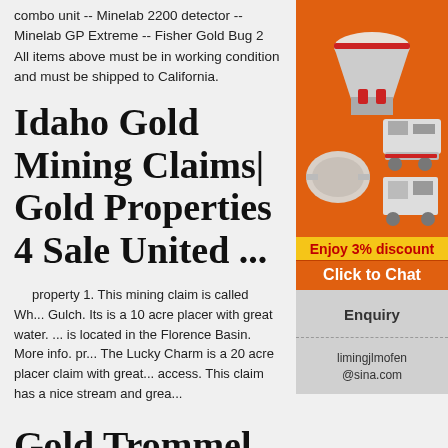combo unit -- Minelab 2200 detector -- Minelab GP Extreme -- Fisher Gold Bug 2 All items above must be in working condition and must be shipped to California.
Idaho Gold Mining Claims| Gold Properties 4 Sale United ...
property 1. This mining claim is called Wh... Gulch. Its is a 10 acre placer with great water. ... is located in the Florence Basin. More info. pr... The Lucky Charm is a 20 acre placer claim with great... access. This claim has a nice stream and grea...
[Figure (illustration): Advertisement panel with orange background showing mining/industrial machinery (crushers, mills), yellow banner 'Enjoy 3% discount', orange 'Click to Chat' button, grey 'Enquiry' section, and email limingjlmofen@sina.com]
Gold Trommel W... Plant Trommel